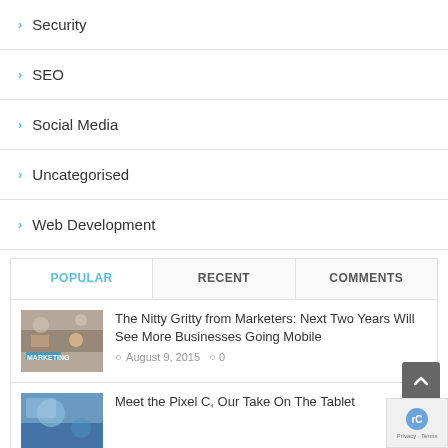Security
SEO
Social Media
Uncategorised
Web Development
POPULAR | RECENT | COMMENTS
[Figure (photo): Marketing image showing desk with marketing items]
The Nitty Gritty from Marketers: Next Two Years Will See More Businesses Going Mobile
August 9, 2015  0
[Figure (photo): Tablet/technology image - Meet the Pixel C]